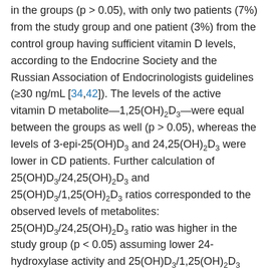in the groups (p > 0.05), with only two patients (7%) from the study group and one patient (3%) from the control group having sufficient vitamin D levels, according to the Endocrine Society and the Russian Association of Endocrinologists guidelines (≥30 ng/mL [34,42]). The levels of the active vitamin D metabolite—1,25(OH)2D3—were equal between the groups as well (p > 0.05), whereas the levels of 3-epi-25(OH)D3 and 24,25(OH)2D3 were lower in CD patients. Further calculation of 25(OH)D3/24,25(OH)2D3 and 25(OH)D3/1,25(OH)2D3 ratios corresponded to the observed levels of metabolites: 25(OH)D3/24,25(OH)2D3 ratio was higher in the study group (p < 0.05) assuming lower 24-hydroxylase activity and 25(OH)D3/1,25(OH)2D3 ratio was equal between the groups (p > 0.05).